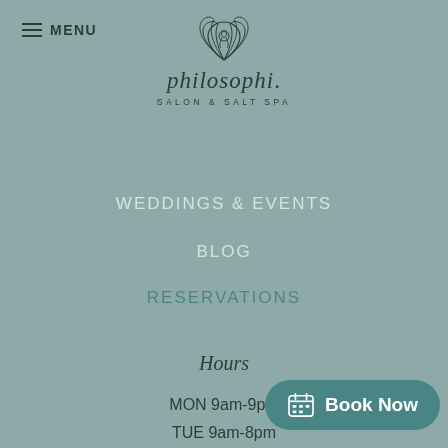≡ MENU
[Figure (logo): Philosophi Salon & Salt Spa logo with lotus flower icon, italic brand name 'philosophi.' and subtitle 'SALON & SALT SPA']
WEDDINGS & EVENTS
BLOG
RESERVATIONS
Hours
MON 9am-9pm
TUE 9am-8pm
WED 2:30pm-8pm
THUR 11am-9pm
FRI 8:30am-9pm